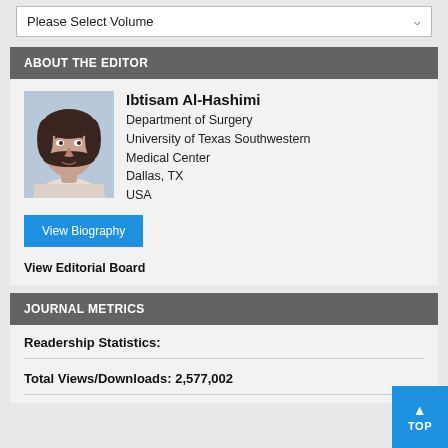[Figure (other): Dropdown selector labeled 'Please Select Volume' with a downward chevron arrow]
ABOUT THE EDITOR
[Figure (photo): Professional headshot of Ibtisam Al-Hashimi, a woman with short dark hair wearing a light-colored top]
Ibtisam Al-Hashimi
Department of Surgery
University of Texas Southwestern Medical Center
Dallas, TX
USA
View Biography
View Editorial Board
JOURNAL METRICS
Readership Statistics:
Total Views/Downloads: 2,577,002